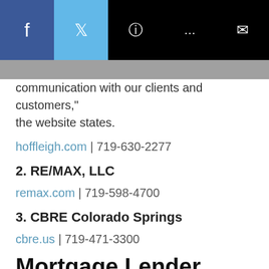[Figure (other): Social media share bar with Facebook (dark blue), Twitter (light blue), WhatsApp, chat, and email icons on black background]
communication with our clients and customers," the website states.
hoffleigh.com | 719-630-2277
2. RE/MAX, LLC
remax.com | 719-598-4700
3. CBRE Colorado Springs
cbre.us | 719-471-3300
Mortgage Lender
1. Fidelity Mortgage Solutions